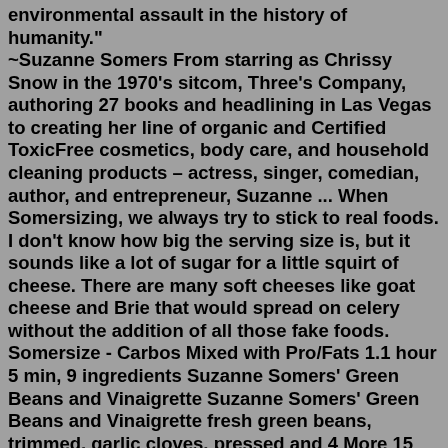environmental assault in the history of humanity." ~Suzanne Somers From starring as Chrissy Snow in the 1970's sitcom, Three's Company, authoring 27 books and headlining in Las Vegas to creating her line of organic and Certified ToxicFree cosmetics, body care, and household cleaning products – actress, singer, comedian, author, and entrepreneur, Suzanne ... When Somersizing, we always try to stick to real foods. I don't know how big the serving size is, but it sounds like a lot of sugar for a little squirt of cheese. There are many soft cheeses like goat cheese and Brie that would spread on celery without the addition of all those fake foods. Somersize - Carbos Mixed with Pro/Fats 1.1 hour 5 min, 9 ingredients Suzanne Somers' Green Beans and Vinaigrette Suzanne Somers' Green Beans and Vinaigrette fresh green beans, trimmed, garlic cloves, pressed and 4 More 15 min, 6 ingredients Tarragon Chicken Salad in Lettuce Cups (Suzanne Somers) Tarragon Chicken Salad in Lettuce Cups (Suzanne Somers)Suzanne Somers, Calabasas, California, 660,928 likes · 13,998 talking